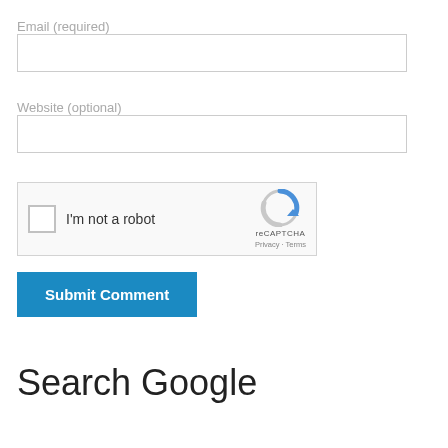Email (required)
[Figure (other): Email input text field, empty, with border]
Website (optional)
[Figure (other): Website input text field, empty, with border]
[Figure (other): reCAPTCHA widget with checkbox, 'I'm not a robot' label, reCAPTCHA logo, Privacy and Terms links]
[Figure (other): Submit Comment button, blue background, white bold text]
Search Google